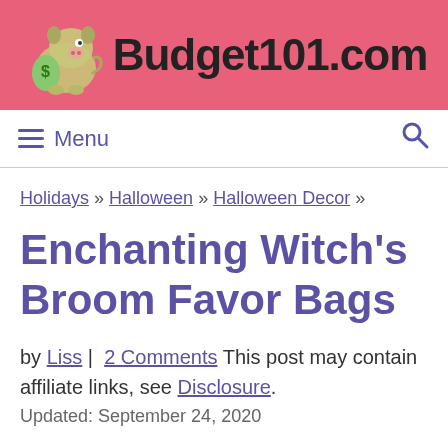[Figure (logo): Budget101.com website header with pink background, pig mascot logo and bold site name text]
≡ Menu  🔍
Holidays » Halloween » Halloween Decor »
Enchanting Witch's Broom Favor Bags
by Liss | 2 Comments This post may contain affiliate links, see Disclosure.
Updated: September 24, 2020